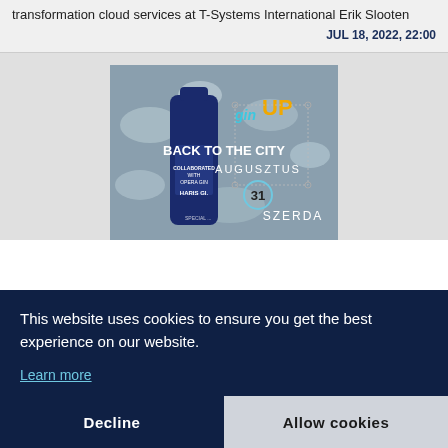transformation cloud services at T-Systems International Erik Slooten
JUL 18, 2022, 22:00
[Figure (photo): Event promotional image for 'Gin Up – Back to the City' event at Haris Gi., featuring a gin bottle on ice, with text overlay: gin UP, BACK TO THE CITY, AUGUSZTUS 31, SZERDA]
This website uses cookies to ensure you get the best experience on our website.
Learn more
Decline
Allow cookies